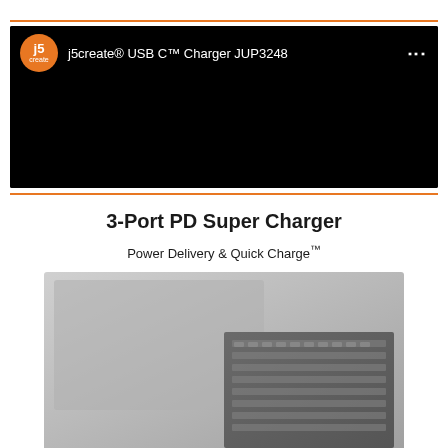[Figure (screenshot): YouTube-style video thumbnail with j5create logo (orange circle) on black background. Title reads 'j5create® USB C™ Charger JUP3248' with a three-dot menu icon on the right.]
3-Port PD Super Charger
Power Delivery & Quick Charge™
[Figure (photo): Partial photo of a silver laptop showing the keyboard area in grayscale/silver tones.]